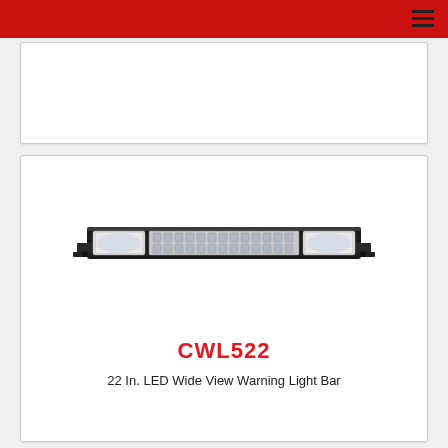[Figure (illustration): Top card area - empty white card with border]
[Figure (illustration): 22 In. LED Wide View Warning Light Bar product illustration showing a rectangular dual-row LED light bar with end brackets, viewed from front/above angle]
CWL522
22 In. LED Wide View Warning Light Bar